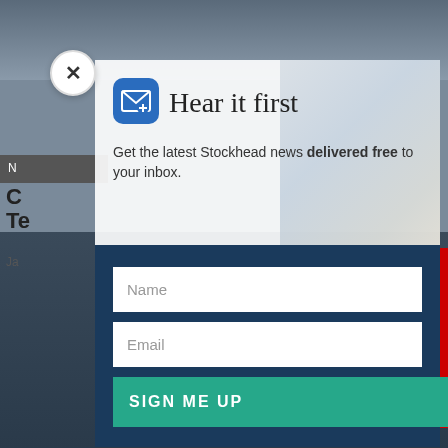[Figure (screenshot): Background webpage showing a shopping scene at top and a dark bar/restaurant scene at bottom, partially obscured by a modal popup]
[Figure (infographic): Email newsletter signup modal popup. Contains a blue mail icon, headline 'Hear it first', subtitle 'Get the latest Stockhead news delivered free to your inbox.', and a form with Name field, Email field, and SIGN ME UP button on dark blue background.]
Hear it first
Get the latest Stockhead news delivered free to your inbox.
Name
Email
SIGN ME UP